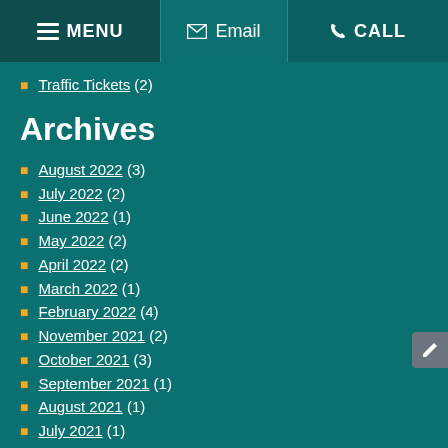MENU | Email | CALL
Traffic Tickets (2)
Archives
August 2022 (3)
July 2022 (2)
June 2022 (1)
May 2022 (2)
April 2022 (2)
March 2022 (1)
February 2022 (4)
November 2021 (2)
October 2021 (3)
September 2021 (1)
August 2021 (1)
July 2021 (1)
June 2021 (2)